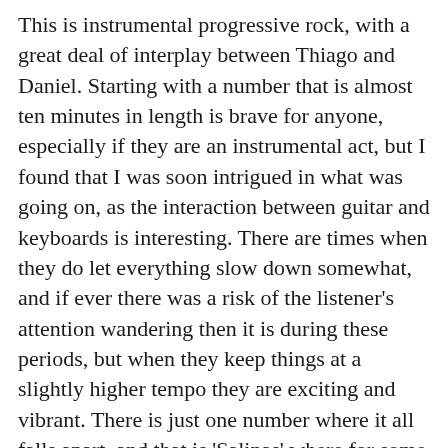This is instrumental progressive rock, with a great deal of interplay between Thiago and Daniel. Starting with a number that is almost ten minutes in length is brave for anyone, especially if they are an instrumental act, but I found that I was soon intrigued in what was going on, as the interaction between guitar and keyboards is interesting. There are times when they do let everything slow down somewhat, and if ever there was a risk of the listener's attention wandering then it is during these periods, but when they keep things at a slightly higher tempo they are exciting and vibrant. There is just one number where it all falls apart, and that is 'Salinas' where for some reason the guys move in to slow Seventies-style fusion of the type that can only ever be background noise. But, thankfully it is just the one song and the title track 'Orion', which is more than thirteen minutes in length, more than makes up for it!